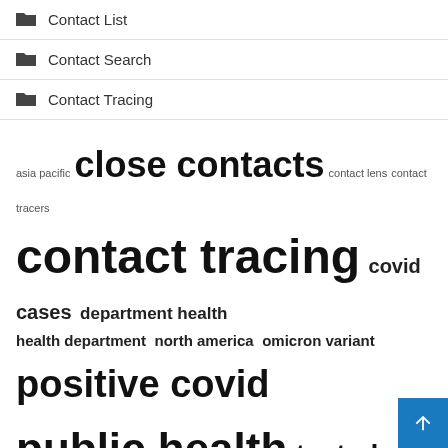Contact List
Contact Search
Contact Tracing
[Figure (other): Tag cloud with terms: asia pacific, close contacts, contact lens, contact tracers, contact tracing, covid cases, department health, health department, north america, omicron variant, positive covid, public health, tested positive, test positive, united states]
Recent Posts
How to File a Complaint with the Consumer Financial Protection Burea